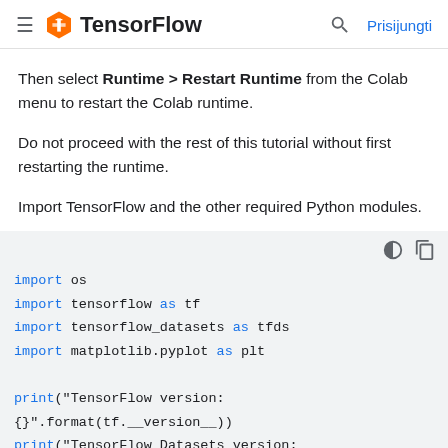TensorFlow  Prisijungti
Then select Runtime > Restart Runtime from the Colab menu to restart the Colab runtime.
Do not proceed with the rest of this tutorial without first restarting the runtime.
Import TensorFlow and the other required Python modules.
[Figure (screenshot): Code block with Python import statements and print statements on a light gray background. Code: import os, import tensorflow as tf, import tensorflow_datasets as tfds, import matplotlib.pyplot as plt, print("TensorFlow version: {}".format(tf.__version__)), print("TensorFlow Datasets version: ",tfds.__version__)]